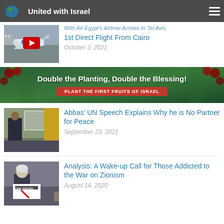United with Israel
With Air Egypt's Airliner Arrives In Tel Aviv 1st Direct Flight From Cairo
October 3, 2021
[Figure (photo): Thumbnail image of airplane at airport with YouTube play button overlay]
[Figure (infographic): Banner: Double the Planting, Double the Blessing! PLANT THE FIRST FRUITS OF ISRAEL with cherry background]
Abbas' UN Speech Explains Why he is No Partner for Peace
September 29, 2021
[Figure (photo): Abbas speaking at UN podium]
Analysis: A Wake-up Call for Those Addicted to the War on Zionism
August 14, 2020
[Figure (photo): Protester holding END ISRAEL sign]